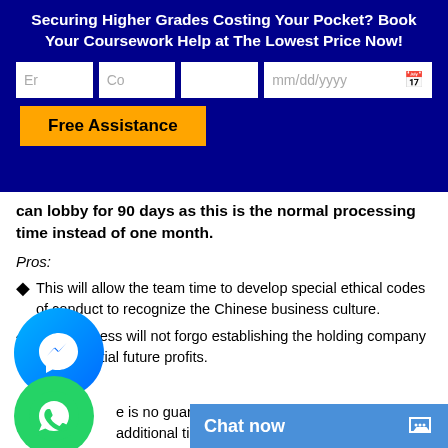Securing Higher Grades Costing Your Pocket? Book Your Coursework Help at The Lowest Price Now!
can lobby for 90 days as this is the normal processing time instead of one month.
Pros:
This will allow the team time to develop special ethical codes of conduct to recognize the Chinese business culture.
The business will not forgo establishing the holding company and potential future profits.
e is no guarantee of obtaining an approval for additional time S AG.
There is no certainty tha...